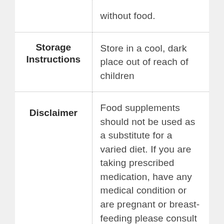| Field | Content |
| --- | --- |
|  | without food. |
| Storage Instructions | Store in a cool, dark place out of reach of children |
| Disclaimer | Food supplements should not be used as a substitute for a varied diet. If you are taking prescribed medication, have any medical condition or are pregnant or breast-feeding please consult |